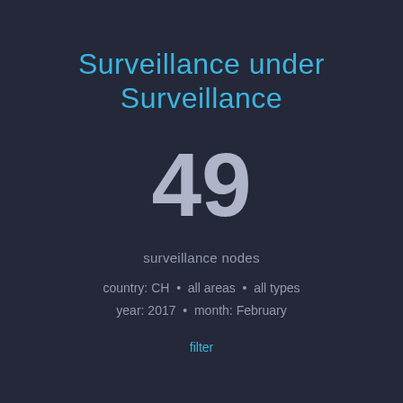Surveillance under Surveillance
49
surveillance nodes
country: CH • all areas • all types
year: 2017 • month: February
filter
[Figure (pie-chart): Partial donut/pie chart visible at bottom of page showing colored segments: tan/brown, dark gray, blue, magenta/pink, with more segments cut off at edges]